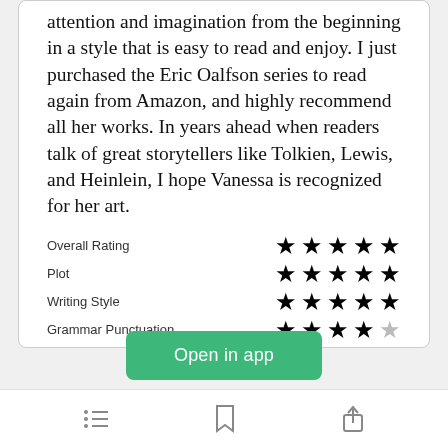attention and imagination from the beginning in a style that is easy to read and enjoy. I just purchased the Eric Oalfson series to read again from Amazon, and highly recommend all her works. In years ahead when readers talk of great storytellers like Tolkien, Lewis, and Heinlein, I hope Vanessa is recognized for her art.
| Category | Rating |
| --- | --- |
| Overall Rating | 5 stars |
| Plot | 5 stars |
| Writing Style | 5 stars |
| Grammar Punctuation | 4 stars |
[Figure (other): Open in app button (green rounded rectangle)]
[Figure (other): Mobile app bottom navigation bar with list icon, bookmark icon, and share icon]